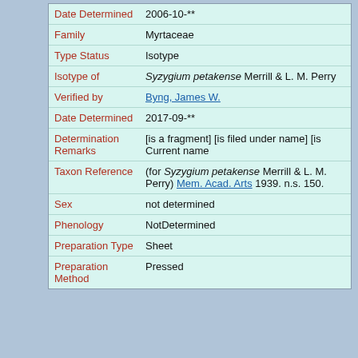| Field | Value |
| --- | --- |
| Date Determined | 2006-10-** |
| Family | Myrtaceae |
| Type Status | Isotype |
| Isotype of | Syzygium petakense Merrill & L. M. Perry |
| Verified by | Byng, James W. |
| Date Determined | 2017-09-** |
| Determination Remarks | [is a fragment] [is filed under name] [is Current name |
| Taxon Reference | (for Syzygium petakense Merrill & L. M. Perry) Mem. Acad. Arts 1939. n.s. 150. |
| Sex | not determined |
| Phenology | NotDetermined |
| Preparation Type | Sheet |
| Preparation Method | Pressed |